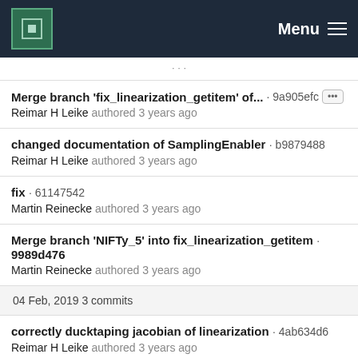MPCDF Menu
(partial item above cut off)
Merge branch 'fix_linearization_getitem' of... · 9a905efc
Reimar H Leike authored 3 years ago
changed documentation of SamplingEnabler · b9879488
Reimar H Leike authored 3 years ago
fix · 61147542
Martin Reinecke authored 3 years ago
Merge branch 'NIFTy_5' into fix_linearization_getitem · 9989d476
Martin Reinecke authored 3 years ago
04 Feb, 2019 3 commits
correctly ducktaping jacobian of linearization · 4ab634d6
Reimar H Leike authored 3 years ago